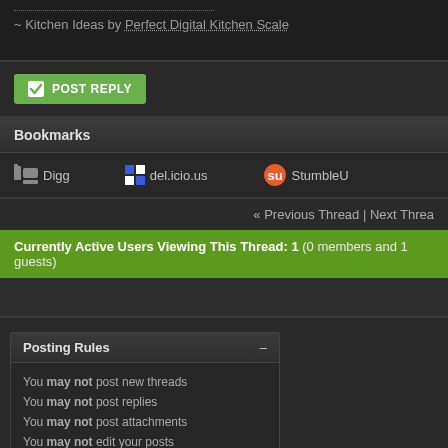~ Kitchen Ideas by Perfect Digital Kitchen Scale
POST REPLY
Bookmarks
Digg   del.icio.us   StumbleU
« Previous Thread | Next Thread
Currently Active Users Viewing This Thread: 1 (0 members and 1 guests)
Posting Rules
You may not post new threads
You may not post replies
You may not post attachments
You may not edit your posts
BB code is On
Smilies are On
[IMG] code is On